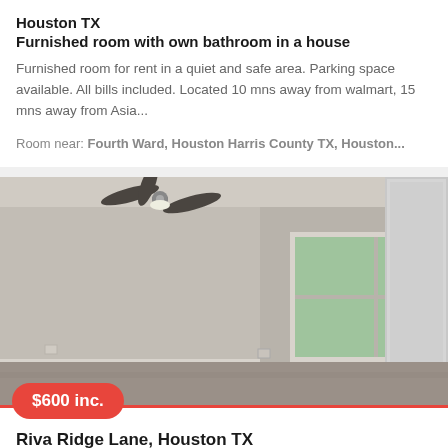Houston TX
Furnished room with own bathroom in a house
Furnished room for rent in a quiet and safe area. Parking space available. All bills included. Located 10 mns away from walmart, 15 mns away from Asia...
Room near: Fourth Ward, Houston Harris County TX, Houston...
[Figure (photo): Interior photo of an unfurnished room with gray walls, ceiling fan, window with natural light, and a mirrored closet door. Price badge showing $600 inc. overlaid at bottom left.]
Riva Ridge Lane, Houston TX
Unfurnished room in a house
The property is great for a short commute to the